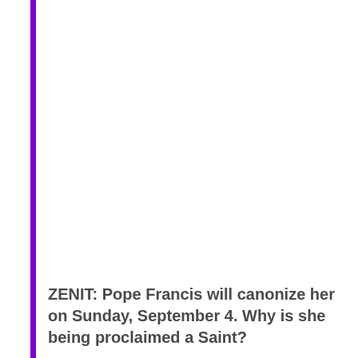ZENIT: Pope Francis will canonize her on Sunday, September 4. Why is she being proclaimed a Saint?